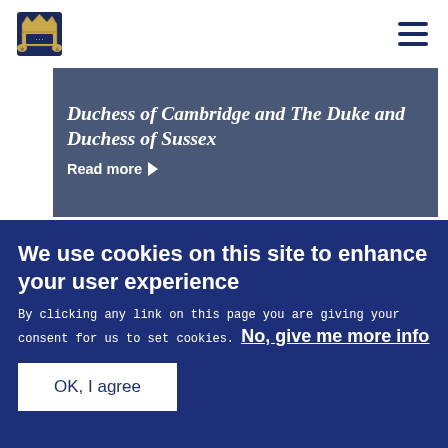Royal website header with crown logo and hamburger menu
Duchess of Cambridge and The Duke and Duchess of Sussex
Read more
[Figure (photo): A woman in a blue hat and purple coat speaking with a man in blue bishop robes with gold trim and glasses, at a formal church occasion]
We use cookies on this site to enhance your user experience
By clicking any link on this page you are giving your consent for us to set cookies. No, give me more info
OK, I agree